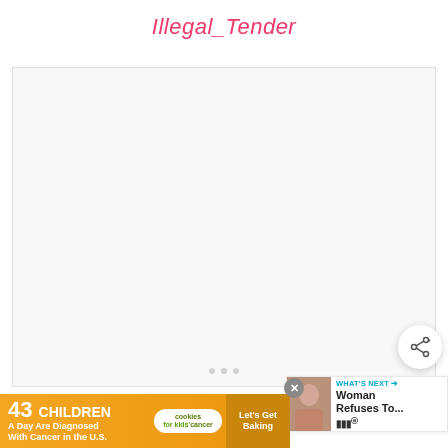Illegal_Tender
[Figure (screenshot): A video player area showing a mostly blank/loading screen with three small dots at the bottom center indicating a loading or pagination state. A share button (circular with a share icon) is visible at the bottom right of the video frame.]
[Figure (screenshot): A 'WHAT'S NEXT' panel in the top right showing a thumbnail of a woman, with text 'Woman Refuses To...' and a logo below it.]
[Figure (screenshot): An advertisement banner at the bottom: '43 CHILDREN A Day Are Diagnosed With Cancer in the U.S.' with a cookies for kids cancer logo and 'Let's Get Baking' text on a cookie image. A close button (X) is shown.]